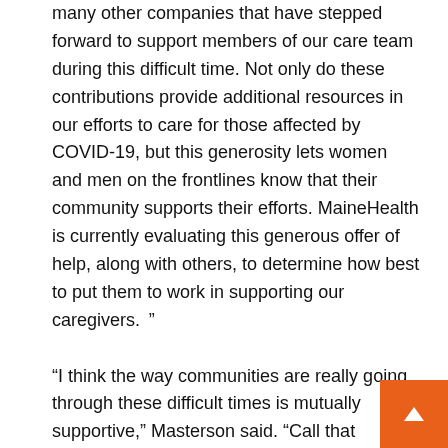many other companies that have stepped forward to support members of our care team during this difficult time. Not only do these contributions provide additional resources in our efforts to care for those affected by COVID-19, but this generosity lets women and men on the frontlines know that their community supports their efforts. MaineHealth is currently evaluating this generous offer of help, along with others, to determine how best to put them to work in supporting our caregivers. ”

“I think the way communities are really going through these difficult times is mutually supportive,” Masterson said. “Call that kindness, or call that gratitude for what we have. Really, it’s essentially about the front li...